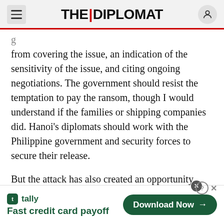THE DIPLOMAT
from covering the issue, an indication of the sensitivity of the issue, and citing ongoing negotiations. The government should resist the temptation to pay the ransom, though I would understand if the families or shipping companies did. Hanoi's diplomats should work with the Philippine government and security forces to secure their release.
But the attack has also created an opportunity should Vietnam want to play a greater role in regional security.
[Figure (screenshot): Advertisement banner for Tally app: 'Fast credit card payoff' with a Download Now button.]